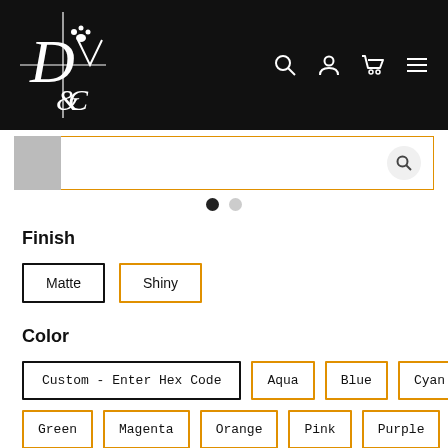[Figure (logo): DVC pet brand logo in white on black background with crosshair design and paw print]
[Figure (screenshot): Navigation header with search, user, cart, and menu icons]
[Figure (screenshot): Search bar with orange border and search magnifying glass icon, with gray rectangle on left and two pagination dots below]
Finish
Matte
Shiny
Color
Custom - Enter Hex Code
Aqua
Blue
Cyan
Green
Magenta
Orange
Pink
Purple